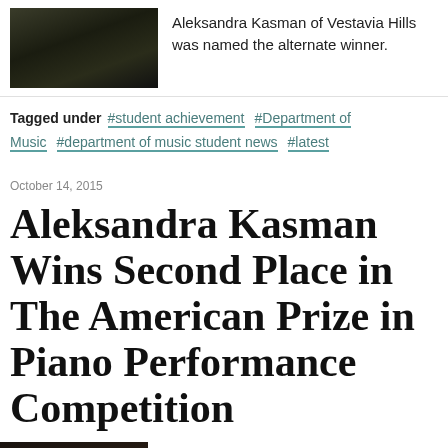[Figure (photo): Dark photo of a person at a piano, top of page]
Aleksandra Kasman of Vestavia Hills was named the alternate winner.
Tagged under #student achievement #Department of Music #department of music student news #latest
October 14, 2015
Aleksandra Kasman Wins Second Place in The American Prize in Piano Performance Competition
[Figure (photo): Dark close-up photo of Aleksandra Kasman]
Pianist Aleksandra Kasman, a junior at UAB, has achieved second place nationally in The American Prize in